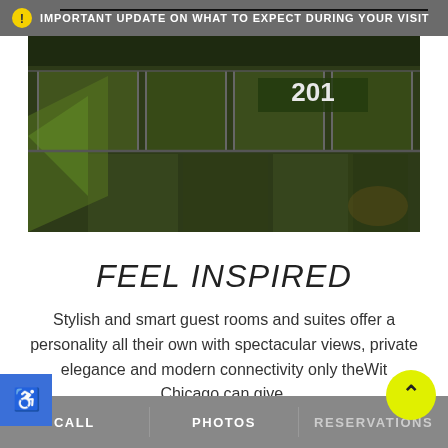IMPORTANT UPDATE ON WHAT TO EXPECT DURING YOUR VISIT
[Figure (photo): Exterior night photo of theWit Chicago hotel entrance showing glass doors and windows with number 201 visible, green-tinted lighting]
FEEL INSPIRED
Stylish and smart guest rooms and suites offer a personality all their own with spectacular views, private elegance and modern connectivity only theWit Chicago can give.
CALL    PHOTOS    RESERVATIONS